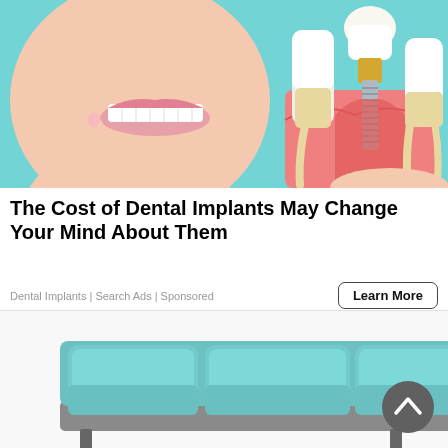[Figure (photo): Woman smiling pointing to teeth with finger, holding a dental implant anatomical model showing crown, abutment and root implant in pink gum model. Teal/cyan background.]
The Cost of Dental Implants May Change Your Mind About Them
Dental Implants | Search Ads | Sponsored
[Figure (photo): Light blue / teal three-cushion sofa on a white background, partially visible. Dark circular scroll-to-top button with upward chevron arrow in the lower right area.]